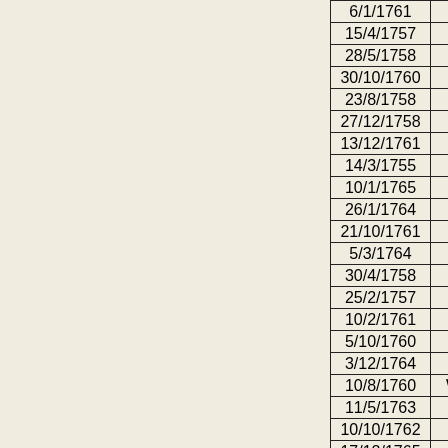| Date | Surname | First Name |  |
| --- | --- | --- | --- |
| 6/1/1761 | Ball | William |  |
| 15/4/1757 | Forster | Joseph | Hi |
| 28/5/1758 | Hewet | Alexander |  |
| 30/10/1760 | Bebbington | Joseph |  |
| 23/8/1758 | Coughin | William | B |
| 27/12/1758 | Podmore | William |  |
| 13/12/1761 | Twemlow | John |  |
| 14/3/1755 | Snelson | Joseph | Hi |
| 10/1/1765 | Bowyer | Joseph |  |
| 26/1/1764 | Kirkman | Thomas |  |
| 21/10/1761 | Mellor? | Richard |  |
| 5/3/1764 | Sampale? | George |  |
| 30/4/1758 | Yarwood | Samuel | S |
| 25/2/1757 | Robison | Samuel | Li |
| 10/2/1761 | Brundreth | John | B |
| 5/10/1760 | Bellesford | William |  |
| 3/12/1764 | Brosster | Thomas | B |
| 10/8/1760 | Whittingham |  |  |
| 11/5/1763 | Bramhall | John |  |
| 10/10/1762 | Broadhurst | William |  |
| 17/12/1765 | Richardson | Robert |  |
| 4/5/1760 | Cherry | Edward |  |
| 21/10/1761 | Plant | Thomas |  |